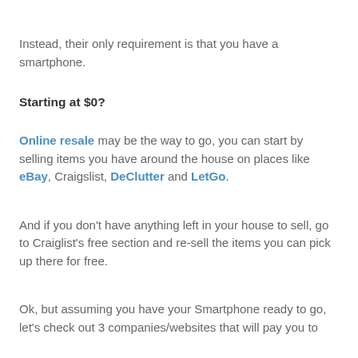Instead, their only requirement is that you have a smartphone.
Starting at $0?
Online resale may be the way to go, you can start by selling items you have around the house on places like eBay, Craigslist, DeClutter and LetGo.
And if you don't have anything left in your house to sell, go to Craiglist's free section and re-sell the items you can pick up there for free.
Ok, but assuming you have your Smartphone ready to go, let's check out 3 companies/websites that will pay you to